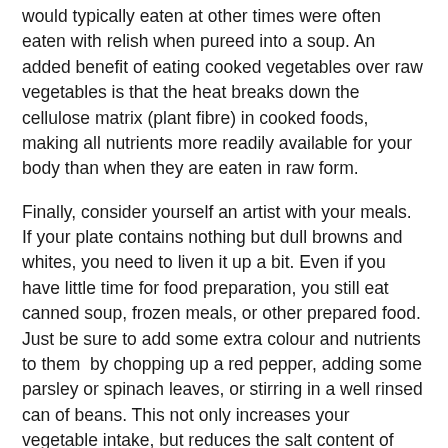would typically eaten at other times were often eaten with relish when pureed into a soup.  An added benefit of eating cooked vegetables over raw vegetables is that the heat breaks down the cellulose matrix (plant fibre) in cooked foods, making all nutrients more readily available for your body than when they are eaten in raw form.
Finally, consider yourself an artist with your meals.  If your plate contains nothing but dull browns and whites, you need to liven it up a bit.  Even if you have little time for food preparation, you still eat canned soup, frozen meals, or other prepared food.  Just be sure to add some extra colour and nutrients to them  by chopping up a red pepper, adding some parsley or spinach leaves, or stirring in a well rinsed can of beans.  This not only increases your vegetable intake, but reduces the salt content of your meal, making it more heart healthy.
Researchers are not sure what specific contents of fruits and vegetables cause the reduction in the rate of death, but the